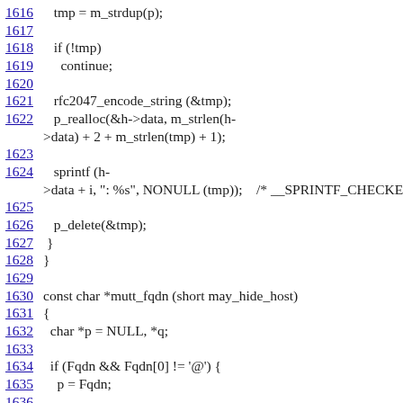Source code listing, lines 1616-1639, C programming language code showing email header encoding functions mutt_fqdn
1616    tmp = m_strdup(p);
1617
1618    if (!tmp)
1619      continue;
1620
1621    rfc2047_encode_string (&tmp);
1622    p_realloc(&h->data, m_strlen(h->data) + 2 + m_strlen(tmp) + 1);
1623
1624    sprintf (h->data + i, ": %s", NONULL (tmp));    /* __SPRINTF_CHECKED
1625
1626    p_delete(&tmp);
1627  }
1628 }
1629
1630 const char *mutt_fqdn (short may_hide_host)
1631 {
1632   char *p = NULL, *q;
1633
1634   if (Fqdn && Fqdn[0] != '@') {
1635     p = Fqdn;
1636
1637     if (may_hide_host && option (OPTHIDDENHOST)) {
1638       if ((p = strchr (Fqdn, '.')))
1639       p++|...